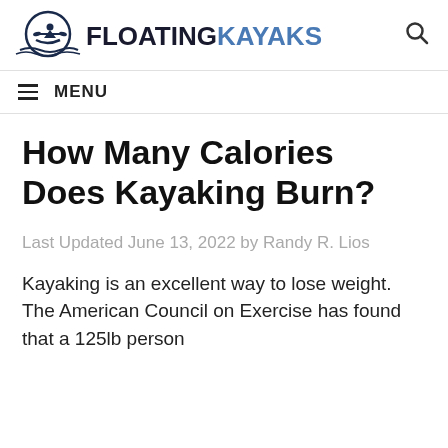FLOATINGKAYAKS
≡ MENU
How Many Calories Does Kayaking Burn?
Last Updated June 13, 2022 by Randy R. Lios
Kayaking is an excellent way to lose weight. The American Council on Exercise has found that a 125lb person